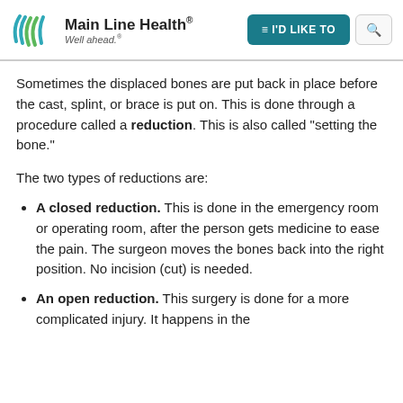Main Line Health® Well ahead.
Sometimes the displaced bones are put back in place before the cast, splint, or brace is put on. This is done through a procedure called a reduction. This is also called "setting the bone."
The two types of reductions are:
A closed reduction. This is done in the emergency room or operating room, after the person gets medicine to ease the pain. The surgeon moves the bones back into the right position. No incision (cut) is needed.
An open reduction. This surgery is done for a more complicated injury. It happens in the